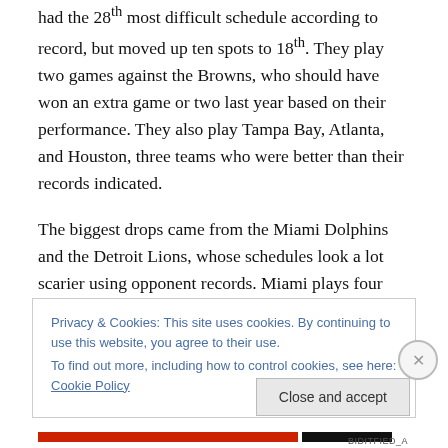had the 28th most difficult schedule according to record, but moved up ten spots to 18th. They play two games against the Browns, who should have won an extra game or two last year based on their performance. They also play Tampa Bay, Atlanta, and Houston, three teams who were better than their records indicated.
The biggest drops came from the Miami Dolphins and the Detroit Lions, whose schedules look a lot scarier using opponent records. Miami plays four games against the Patriots and Jets, who combined for about four more wins
Privacy & Cookies: This site uses cookies. By continuing to use this website, you agree to their use.
To find out more, including how to control cookies, see here: Cookie Policy